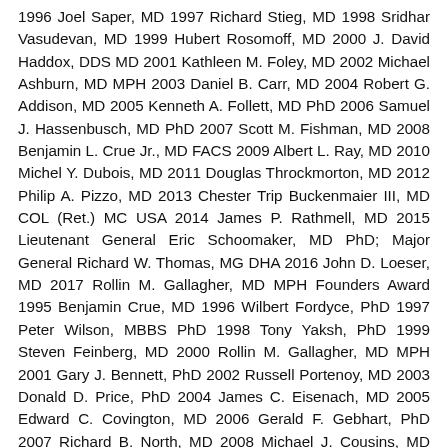1996 Joel Saper, MD 1997 Richard Stieg, MD 1998 Sridhar Vasudevan, MD 1999 Hubert Rosomoff, MD 2000 J. David Haddox, DDS MD 2001 Kathleen M. Foley, MD 2002 Michael Ashburn, MD MPH 2003 Daniel B. Carr, MD 2004 Robert G. Addison, MD 2005 Kenneth A. Follett, MD PhD 2006 Samuel J. Hassenbusch, MD PhD 2007 Scott M. Fishman, MD 2008 Benjamin L. Crue Jr., MD FACS 2009 Albert L. Ray, MD 2010 Michel Y. Dubois, MD 2011 Douglas Throckmorton, MD 2012 Philip A. Pizzo, MD 2013 Chester Trip Buckenmaier III, MD COL (Ret.) MC USA 2014 James P. Rathmell, MD 2015 Lieutenant General Eric Schoomaker, MD PhD; Major General Richard W. Thomas, MG DHA 2016 John D. Loeser, MD 2017 Rollin M. Gallagher, MD MPH Founders Award 1995 Benjamin Crue, MD 1996 Wilbert Fordyce, PhD 1997 Peter Wilson, MBBS PhD 1998 Tony Yaksh, PhD 1999 Steven Feinberg, MD 2000 Rollin M. Gallagher, MD MPH 2001 Gary J. Bennett, PhD 2002 Russell Portenoy, MD 2003 Donald D. Price, PhD 2004 James C. Eisenach, MD 2005 Edward C. Covington, MD 2006 Gerald F. Gebhart, PhD 2007 Richard B. North, MD 2008 Michael J. Cousins, MD DSc FANZCA FRCA FAChpm(RACP) FFpmANZCA 2009 Nikolai Bogduk, MD PhD DSc 2010 David Joranson, MSSW 2011 Daniel B. Carr, MD